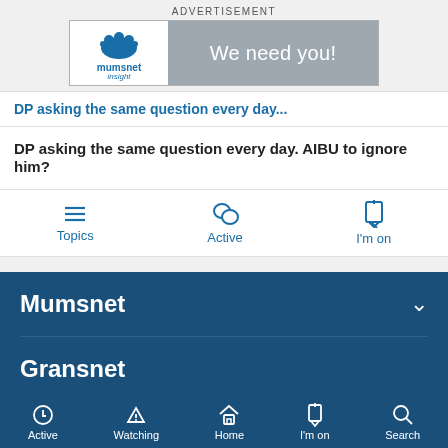ADVERTISEMENT
[Figure (logo): Mumsnet Insight advertisement banner with logo on left and 'We need you!' text on grey background]
DP asking the same question every day. AIBU to ignore him? (partial thread title above)
DP asking the same question every day. AIBU to ignore him?
Topics
Active
I'm on
Mumsnet
Gransnet
Active
Watching
Home
I'm on
Search